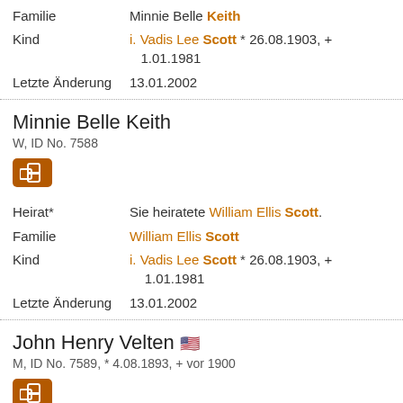Familie   Minnie Belle Keith
Kind   i. Vadis Lee Scott * 26.08.1903, + 1.01.1981
Letzte Änderung   13.01.2002
Minnie Belle Keith
W, ID No. 7588
[Figure (other): Orange icon with overlapping squares/network symbol]
Heirat*   Sie heiratete William Ellis Scott.
Familie   William Ellis Scott
Kind   i. Vadis Lee Scott * 26.08.1903, + 1.01.1981
Letzte Änderung   13.01.2002
John Henry Velten 🇺🇸
M, ID No. 7589, * 4.08.1893, + vor 1900
[Figure (other): Orange icon with overlapping squares/network symbol]